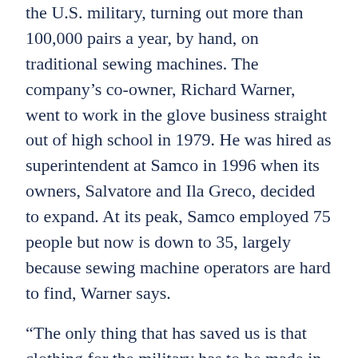the U.S. military, turning out more than 100,000 pairs a year, by hand, on traditional sewing machines. The company's co-owner, Richard Warner, went to work in the glove business straight out of high school in 1979. He was hired as superintendent at Samco in 1996 when its owners, Salvatore and Ila Greco, decided to expand. At its peak, Samco employed 75 people but now is down to 35, largely because sewing machine operators are hard to find, Warner says.
“The only thing that has saved us is that clothing for the military has to be made in the USA,” Warner said. “Otherwise, we wouldn’t be here.”
Glove making was always considered the upper